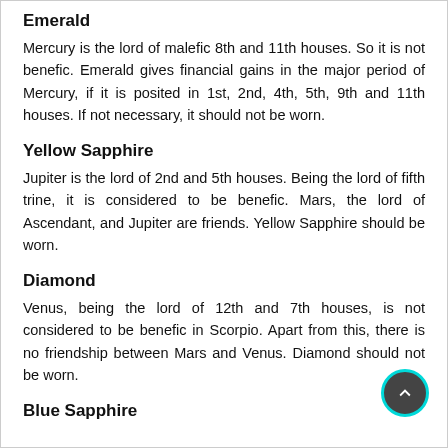Emerald
Mercury is the lord of malefic 8th and 11th houses. So it is not benefic. Emerald gives financial gains in the major period of Mercury, if it is posited in 1st, 2nd, 4th, 5th, 9th and 11th houses. If not necessary, it should not be worn.
Yellow Sapphire
Jupiter is the lord of 2nd and 5th houses. Being the lord of fifth trine, it is considered to be benefic. Mars, the lord of Ascendant, and Jupiter are friends. Yellow Sapphire should be worn.
Diamond
Venus, being the lord of 12th and 7th houses, is not considered to be benefic in Scorpio. Apart from this, there is no friendship between Mars and Venus. Diamond should not be worn.
Blue Sapphire